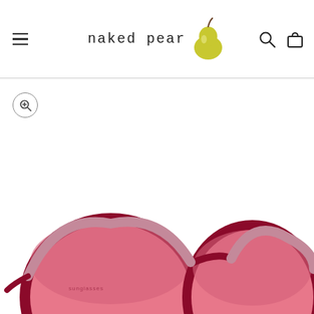[Figure (screenshot): E-commerce website header for 'naked pear' with hamburger menu, brand logo with pear icon, search and cart icons]
[Figure (photo): Product photo of large round sunglasses with pink lenses and dark burgundy/maroon frames, viewed from slightly above, white background]